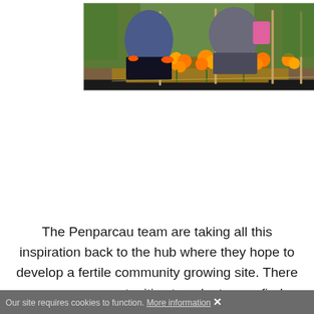[Figure (photo): Two people kneeling outdoors in a garden, planting or tending to orange marigold flowers. They are wearing gloves; green grass and wooden stakes are visible in the background.]
The Penparcau team are taking all this inspiration back to the hub where they hope to develop a fertile community growing site. There are many opportunities to volunteer or find outdoor growing space around North Ceredigion. Some Wildlife Gardening participants will take their skills back to Gerddi Tyllwyd in Llanfarian while others opted to volunteer at Llanfarian. If
Our site requires cookies to function. More information ✕